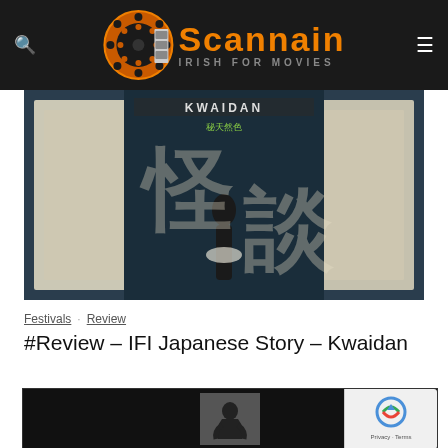Scannain — IRISH FOR MOVIES
[Figure (photo): Kwaidan movie poster — dark teal/blue background with large Japanese kanji characters and a silhouette of a woman, 'KWAIDAN' text at top with Japanese characters]
Festivals · Review
#Review – IFI Japanese Story – Kwaidan
[Figure (photo): Dark content box with a small black and white photo of a crouching figure/statue in the center, and a reCAPTCHA widget in the bottom right corner showing 'Privacy - Terms']